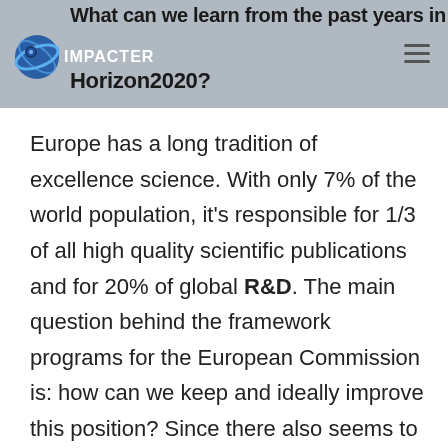What can we learn from the past years in Horizon2020?
Europe has a long tradition of excellence science. With only 7% of the world population, it's responsible for 1/3 of all high quality scientific publications and for 20% of global R&D. The main question behind the framework programs for the European Commission is: how can we keep and ideally improve this position? Since there also seems to be a lack of translating this excellence science to